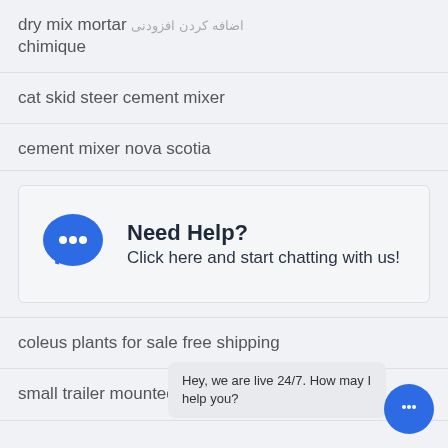dry mix mortar chimique
cat skid steer cement mixer
cement mixer nova scotia
[Figure (infographic): Need Help chat widget with blue speech bubble icon. Text: 'Need Help? Click here and start chatting with us!']
coleus plants for sale free shipping
small trailer mounted diesel concrete
Hey, we are live 24/7. How may I help you?